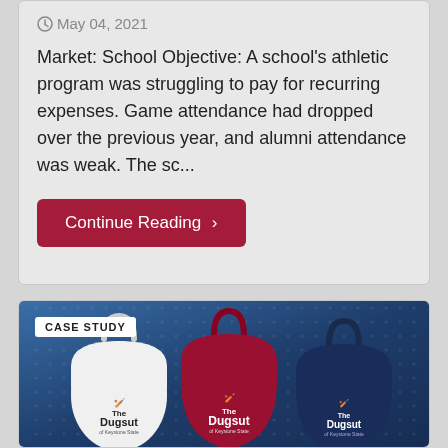May 04, 2021
Market: School Objective: A school's athletic program was struggling to pay for recurring expenses. Game attendance had dropped over the previous year, and alumni attendance was weak. The sc...
Continue Reading ›
[Figure (photo): Case study image showing three Dugout branded bags (white, red/maroon, and navy blue) with a baseball batter silhouette logo, displayed against a dark blue background with subtle pattern. A 'CASE STUDY' label tag is in the upper left.]